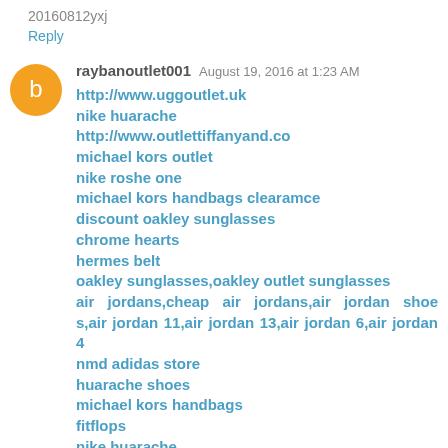20160812yxj
Reply
raybanoutlet001  August 19, 2016 at 1:23 AM
http://www.uggoutlet.uk
nike huarache
http://www.outlettiffanyand.co
michael kors outlet
nike roshe one
michael kors handbags clearamce
discount oakley sunglasses
chrome hearts
hermes belt
oakley sunglasses,oakley outlet sunglasses
air jordans,cheap air jordans,air jordan shoes,air jordan 11,air jordan 13,air jordan 6,air jordan 4
nmd adidas store
huarache shoes
michael kors handbags
fitflops
nike huarache